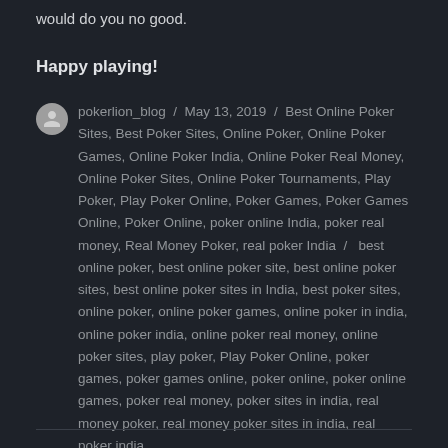would do you no good.
Happy playing!
pokerlion_blog / May 13, 2019 / Best Online Poker Sites, Best Poker Sites, Online Poker, Online Poker Games, Online Poker India, Online Poker Real Money, Online Poker Sites, Online Poker Tournaments, Play Poker, Play Poker Online, Poker Games, Poker Games Online, Poker Online, poker online India, poker real money, Real Money Poker, real poker India / best online poker, best online poker site, best online poker sites, best online poker sites in India, best poker sites, online poker, online poker games, online poker in india, online poker india, online poker real money, online poker sites, play poker, Play Poker Online, poker games, poker games online, poker online, poker online games, poker real money, poker sites in india, real money poker, real money poker sites in india, real poker india